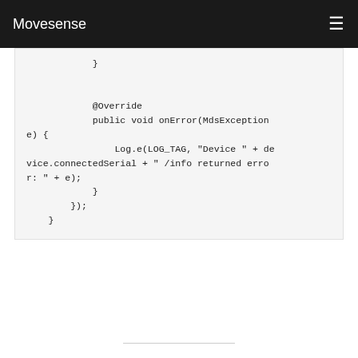Movesense
[Figure (screenshot): Code block showing Java override method onError with MdsException parameter and Log.e call with device connectedSerial and /info returned error message]